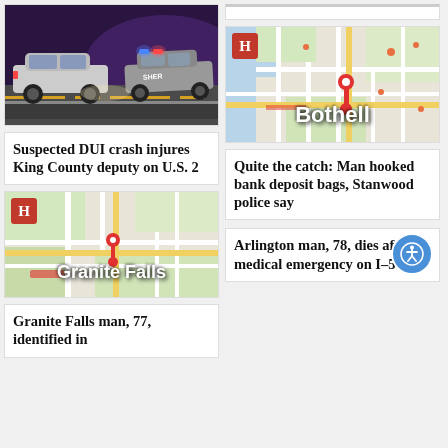[Figure (photo): Night scene showing a white car and a sheriff's police car on a road with police lights visible]
Suspected DUI crash injures King County deputy on U.S. 2
[Figure (map): Map showing Bothell area with H news badge overlay]
Quite the catch: Man hooked bank deposit bags, Stanwood police say
[Figure (map): Map showing Granite Falls area with H news badge overlay]
Granite Falls man, 77, identified in
Arlington man, 78, dies after medical emergency on I-5